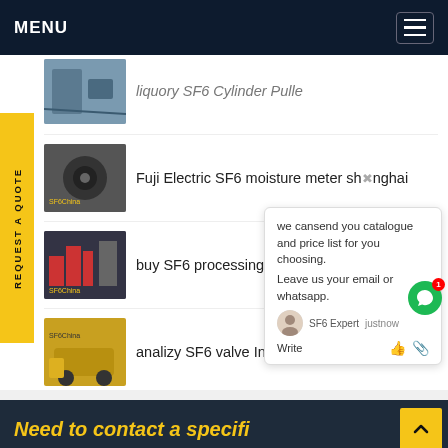MENU
liquory SF6 Cylinder Pulle
Fuji Electric SF6 moisture meter shanghai
buy SF6 processing Pump
analizy SF6 valve Indonesia
Government SF6 RMU
we cansend you catalogue and price list for you choosing. Leave us your email or whatsapp.
SF6 Expert  justnow
Write
Need to contact a specifi